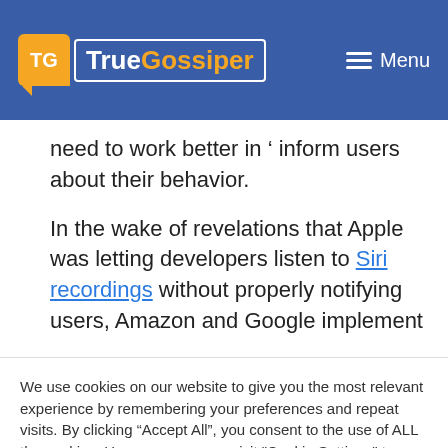TrueGossiper | Menu
need to work better in ‘ inform users about their behavior.
In the wake of revelations that Apple was letting developers listen to Siri recordings without properly notifying users, Amazon and Google implement
We use cookies on our website to give you the most relevant experience by remembering your preferences and repeat visits. By clicking “Accept All”, you consent to the use of ALL the cookies. However, you may visit "Cookie Settings" to provide a controlled consent.